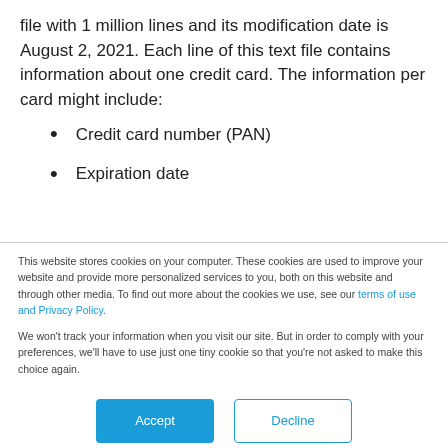file with 1 million lines and its modification date is August 2, 2021. Each line of this text file contains information about one credit card. The information per card might include:
Credit card number (PAN)
Expiration date
This website stores cookies on your computer. These cookies are used to improve your website and provide more personalized services to you, both on this website and through other media. To find out more about the cookies we use, see our terms of use and Privacy Policy.

We won't track your information when you visit our site. But in order to comply with your preferences, we'll have to use just one tiny cookie so that you're not asked to make this choice again.
Accept
Decline